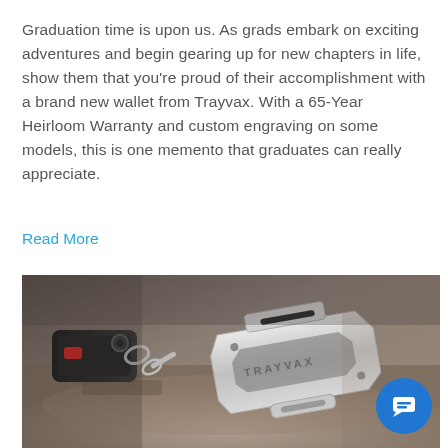Graduation time is upon us. As grads embark on exciting adventures and begin gearing up for new chapters in life, show them that you're proud of their accomplishment with a brand new wallet from Trayvax. With a 65-Year Heirloom Warranty and custom engraving on some models, this is one memento that graduates can really appreciate.
Read More
[Figure (photo): Close-up photo of a Trayvax branded metal carabiner keychain clip alongside car keys on a textured surface.]